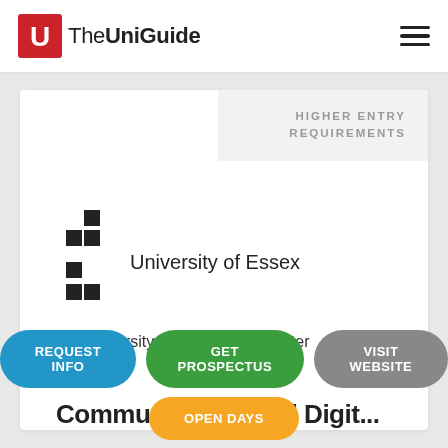[Figure (logo): TheUniGuide logo with red square U icon and text]
HIGHER ENTRY REQUIREMENTS
[Figure (logo): University of Essex logo - checkered pattern in black]
University of Essex
University of Essex | Colchester
Communication and Digital...
REQUEST INFO
GET PROSPECTUS
VISIT WEBSITE
OPEN DAYS